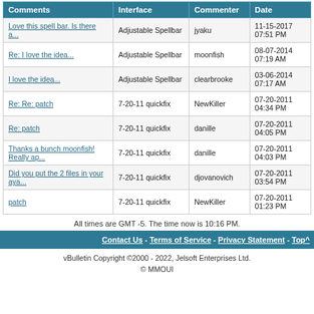| Comments | Interface | Commenter | Date |
| --- | --- | --- | --- |
| Love this spell bar. Is there a... | Adjustable Spellbar | jyaku | 11-15-2017 07:51 PM |
| Re: I love the idea... | Adjustable Spellbar | moonfish | 08-07-2014 07:19 AM |
| I love the idea... | Adjustable Spellbar | clearbrooke | 03-06-2014 07:17 AM |
| Re: Re: patch | 7-20-11 quickfix | NewKiller | 07-20-2011 04:34 PM |
| Re: patch | 7-20-11 quickfix | danille | 07-20-2011 04:05 PM |
| Thanks a bunch moonfish! Really ap... | 7-20-11 quickfix | danille | 07-20-2011 04:03 PM |
| Did you put the 2 files in your aya... | 7-20-11 quickfix | djovanovich | 07-20-2011 03:54 PM |
| patch | 7-20-11 quickfix | NewKiller | 07-20-2011 01:23 PM |
All times are GMT -5. The time now is 10:16 PM.
Contact Us - Terms of Service - Privacy Statement - Top^
vBulletin Copyright ©2000 - 2022, Jelsoft Enterprises Ltd. © MMOUI